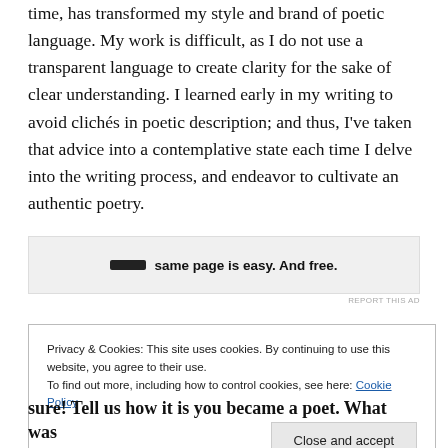time, has transformed my style and brand of poetic language. My work is difficult, as I do not use a transparent language to create clarity for the sake of clear understanding. I learned early in my writing to avoid clichés in poetic description; and thus, I've taken that advice into a contemplative state each time I delve into the writing process, and endeavor to cultivate an authentic poetry.
[Figure (other): Advertisement banner with bold text: same page is easy. And free.]
REPORT THIS AD
Privacy & Cookies: This site uses cookies. By continuing to use this website, you agree to their use.
To find out more, including how to control cookies, see here: Cookie Policy
Close and accept
sure! Tell us how it is you became a poet. What was